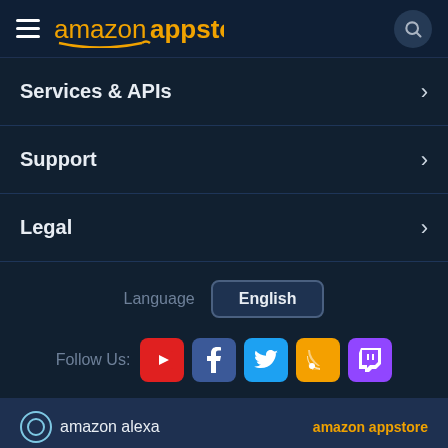amazon appstore
Services & APIs
Support
Legal
Language  English
Follow Us: [YouTube] [Facebook] [Twitter] [Blog] [Twitch]
amazon alexa   amazon appstore